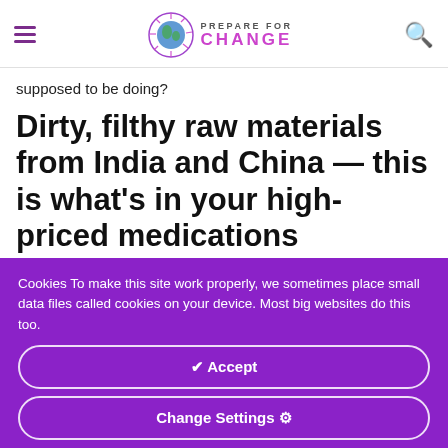Prepare For Change — navigation header with logo, hamburger menu, and search icon
supposed to be doing?
Dirty, filthy raw materials from India and China — this is what's in your high-priced medications
Cookies To make this site work properly, we sometimes place small data files called cookies on your device. Most big websites do this too.
✓ Accept
Change Settings ⚙